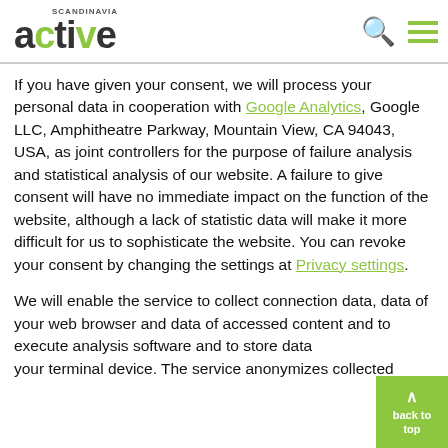SCANDINAVIA active
If you have given your consent, we will process your personal data in cooperation with Google Analytics, Google LLC, Amphitheatre Parkway, Mountain View, CA 94043, USA, as joint controllers for the purpose of failure analysis and statistical analysis of our website. A failure to give consent will have no immediate impact on the function of the website, although a lack of statistic data will make it more difficult for us to sophisticate the website. You can revoke your consent by changing the settings at Privacy settings.
We will enable the service to collect connection data, data of your web browser and data of accessed content and to execute analysis software and to store data on your terminal device. The service anonymizes collected